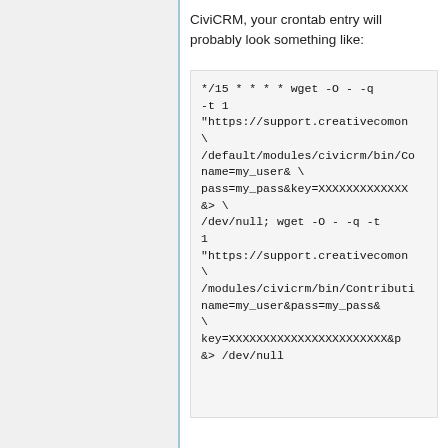CiviCRM, your crontab entry will probably look something like:
*/15 * * * * wget -O - -q -t 1 "https://support.creativecommon\
/default/modules/civicrm/bin/Co
name=my_user& \
pass=my_pass&key=XXXXXXXXXXXXX
&> \
/dev/null; wget -O - -q -t
1
"https://support.creativecommon
\
/modules/civicrm/bin/Contributi
name=my_user&pass=my_pass&
\
key=XXXXXXXXXXXXXXXXXXXXXXX&p
&> /dev/null